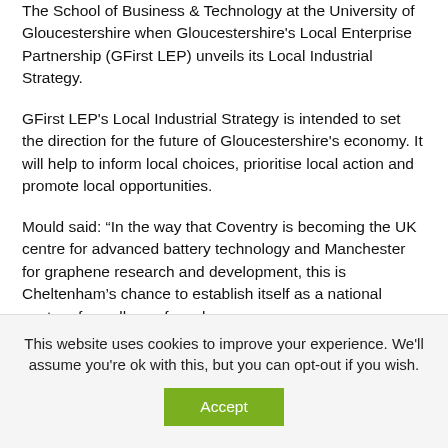The School of Business & Technology at the University of Gloucestershire when Gloucestershire's Local Enterprise Partnership (GFirst LEP) unveils its Local Industrial Strategy.
GFirst LEP's Local Industrial Strategy is intended to set the direction for the future of Gloucestershire's economy. It will help to inform local choices, prioritise local action and promote local opportunities.
Mould said: “In the way that Coventry is becoming the UK centre for advanced battery technology and Manchester for graphene research and development, this is Cheltenham’s chance to establish itself as a national centre of excellence for cyber
This website uses cookies to improve your experience. We'll assume you're ok with this, but you can opt-out if you wish.
Accept